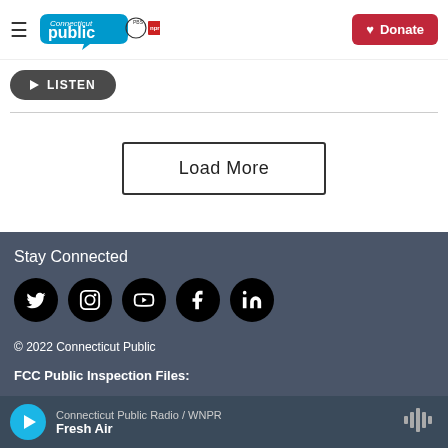Connecticut Public | PBS | NPR | Donate
LISTEN
Load More
Stay Connected
[Figure (infographic): Social media icons: Twitter, Instagram, YouTube, Facebook, LinkedIn]
© 2022 Connecticut Public
FCC Public Inspection Files:
Connecticut Public Radio / WNPR | Fresh Air